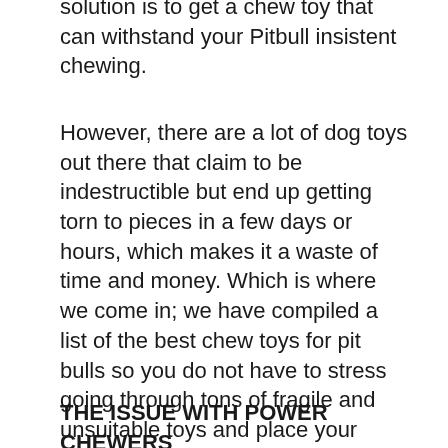solution is to get a chew toy that can withstand your Pitbull insistent chewing.
However, there are a lot of dog toys out there that claim to be indestructible but end up getting torn to pieces in a few days or hours, which makes it a waste of time and money. Which is where we come in; we have compiled a list of the best chew toys for pit bulls so you do not have to stress going through tons of fragile and unsuitable toys and place your focus on the options designed to withstand heavy chewers, that way you'll be able to give him a toy that befits his incredible jaws.
THE ISSUE WITH POWER CHEWERS